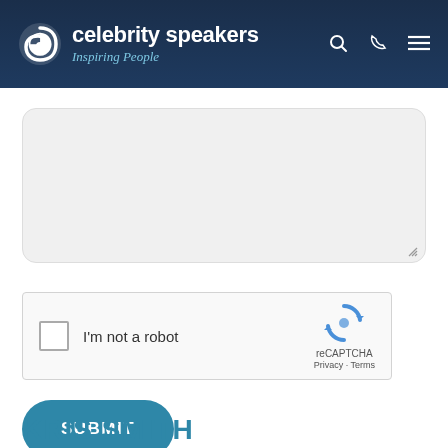[Figure (logo): Celebrity Speakers logo with spiral icon, white text 'celebrity speakers' and italic subtitle 'Inspiring People' on dark navy background, with search, phone, and menu icons]
[Figure (screenshot): A grey text area input field (partially visible, rounded corners) representing a form text input]
[Figure (screenshot): reCAPTCHA widget with checkbox, 'I'm not a robot' label, and reCAPTCHA logo with Privacy and Terms links]
SUBMIT
KRIS SMITH